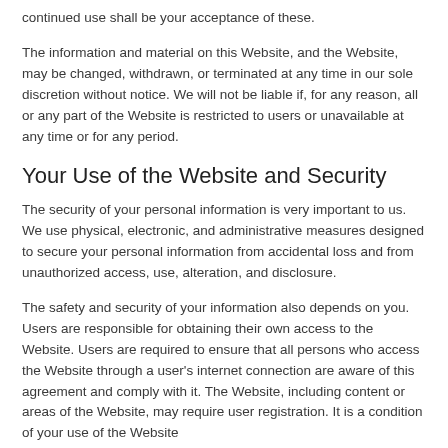continued use shall be your acceptance of these.
The information and material on this Website, and the Website, may be changed, withdrawn, or terminated at any time in our sole discretion without notice. We will not be liable if, for any reason, all or any part of the Website is restricted to users or unavailable at any time or for any period.
Your Use of the Website and Security
The security of your personal information is very important to us. We use physical, electronic, and administrative measures designed to secure your personal information from accidental loss and from unauthorized access, use, alteration, and disclosure.
The safety and security of your information also depends on you. Users are responsible for obtaining their own access to the Website. Users are required to ensure that all persons who access the Website through a user's internet connection are aware of this agreement and comply with it. The Website, including content or areas of the Website, may require user registration. It is a condition of your use of the Website